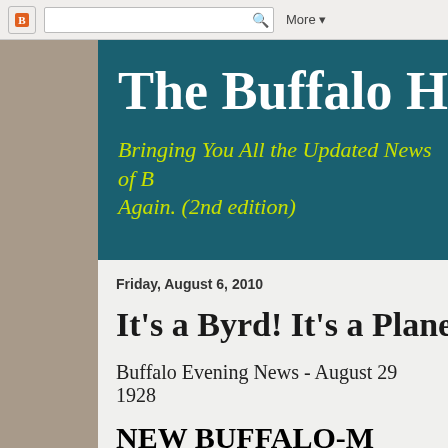Blogger navigation bar with icon, search box, and More▼ menu
The Buffalo Histo
Bringing You All the Updated News of B Again. (2nd edition)
Friday, August 6, 2010
It's a Byrd! It's a Plane!...
Buffalo Evening News - August 29 1928
NEW BUFFALO-M